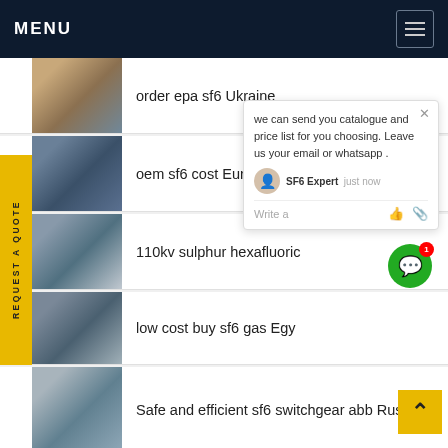MENU
order epa sf6 Ukraine
oem sf6 cost Europe
110kv sulphur hexafluoride...
low cost buy sf6 gas Egypt...
Safe and efficient sf6 switchgear abb Russia
750kv is sf6 Bangladesh
we can send you catalogue and price list for you choosing. Leave us your email or whatsapp .
SF6 Expert   just now
Write a
REQUEST A QUOTE